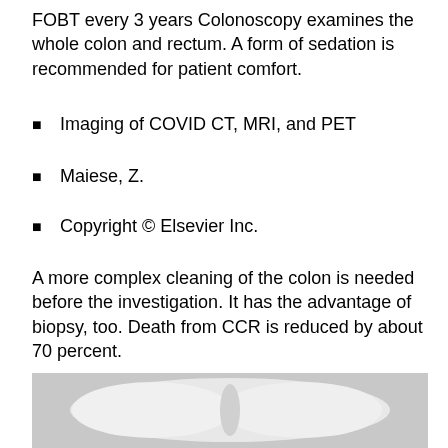FOBT every 3 years Colonoscopy examines the whole colon and rectum. A form of sedation is recommended for patient comfort.
Imaging of COVID CT, MRI, and PET
Maiese, Z.
Copyright © Elsevier Inc.
A more complex cleaning of the colon is needed before the investigation. It has the advantage of biopsy, too. Death from CCR is reduced by about 70 percent.
[Figure (photo): Black and white medical X-ray or imaging scan showing what appears to be a colon or cross-section of the bowel, displayed in grayscale with light/white areas against a darker background.]